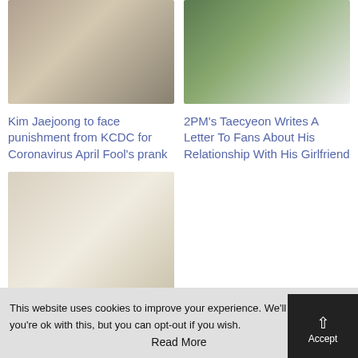[Figure (photo): Close-up photo of Kim Jaejoong, a Korean male celebrity with blonde/light hair]
Kim Jaejoong to face punishment from KCDC for Coronavirus April Fool's prank
[Figure (photo): Photo of 2PM's Taecyeon, a Korean male celebrity in white, with plants in background]
2PM's Taecyeon Writes A Letter To Fans About His Relationship With His Girlfriend
[Figure (photo): Group photo of a K-pop group in white/cream outfits in a bright studio setting]
May Comebacks and Debuts To Look Forward To
This website uses cookies to improve your experience. We'll as you're ok with this, but you can opt-out if you wish. Accept Read More